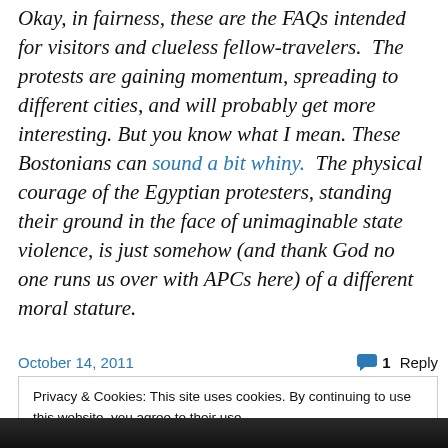Okay, in fairness, these are the FAQs intended for visitors and clueless fellow-travelers.  The protests are gaining momentum, spreading to different cities, and will probably get more interesting. But you know what I mean. These Bostonians can sound a bit whiny.  The physical courage of the Egyptian protesters, standing their ground in the face of unimaginable state violence, is just somehow (and thank God no one runs us over with APCs here) of a different moral stature.
October 14, 2011
1 Reply
Privacy & Cookies: This site uses cookies. By continuing to use this website, you agree to their use.
To find out more, including how to control cookies, see here: Cookie Policy
Close and accept
[Figure (photo): Dark photograph strip at the bottom of the page]